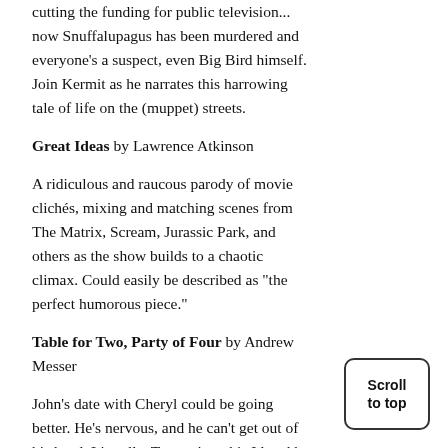cutting the funding for public television... now Snuffalupagus has been murdered and everyone's a suspect, even Big Bird himself. Join Kermit as he narrates this harrowing tale of life on the (muppet) streets.
Great Ideas by Lawrence Atkinson
A ridiculous and raucous parody of movie clichés, mixing and matching scenes from The Matrix, Scream, Jurassic Park, and others as the show builds to a chaotic climax. Could easily be described as "the perfect humorous piece."
Table for Two, Party of Four by Andrew Messer
John's date with Cheryl could be going better. He's nervous, and he can't get out of his head. Literally. Two voices, his Id and his Super Ego, are having a lively conversation with John as he tries to woo Cheryl. The Super Ego is elitist and snobby, and the Id